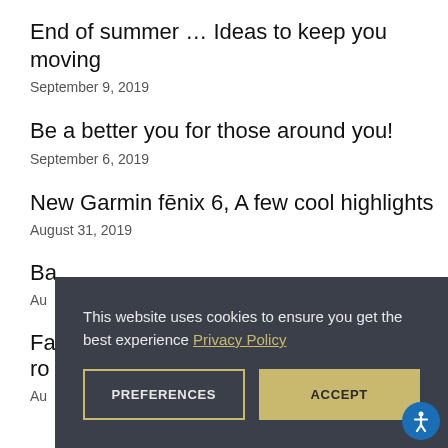End of summer … Ideas to keep you moving
September 9, 2019
Be a better you for those around you!
September 6, 2019
New Garmin fēnix 6, A few cool highlights
August 31, 2019
Ba...
Au...
Fa... ro...
Au...
This website uses cookies to ensure you get the best experience Privacy Policy
PREFERENCES
ACCEPT